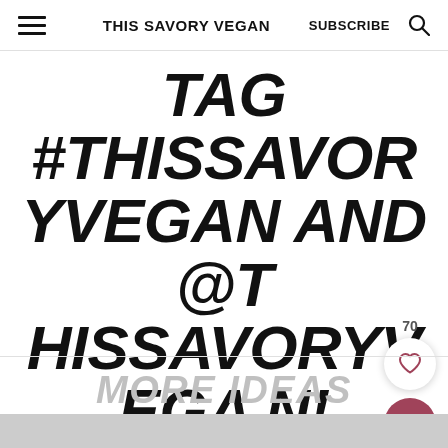THIS SAVORY VEGAN  SUBSCRIBE
TAG #THISSAVORYVEGAN AND @THISSAVORYVEGAN!
70
MORE IDEAS